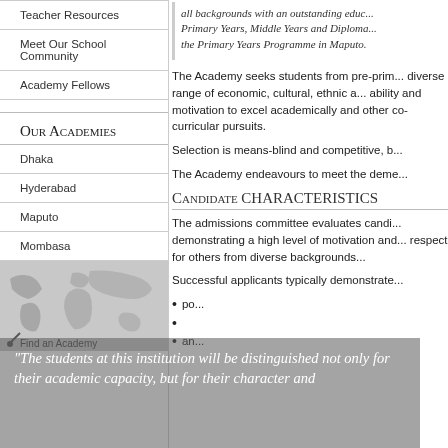Teacher Resources
Meet Our School Community
Academy Fellows
Our Academies
Dhaka
Hyderabad
Maputo
Mombasa
[Figure (map): World map graphic in grayscale shown in left sidebar]
all backgrounds with an outstanding educ... Primary Years, Middle Years and Diploma... the Primary Years Programme in Maputo.
The Academy seeks students from pre-prim... diverse range of economic, cultural, ethnic a... ability and motivation to excel academically and other co-curricular pursuits.
Selection is means-blind and competitive, b...
The Academy endeavours to meet the deme...
Candidate Characteristics
The admissions committee evaluates candi... demonstrating a high level of motivation and... respect for others from diverse backgrounds...
Successful applicants typically demonstrate...
po...
an...
"The students at this institution will be distinguished not only for their academic capacity, but for their character and